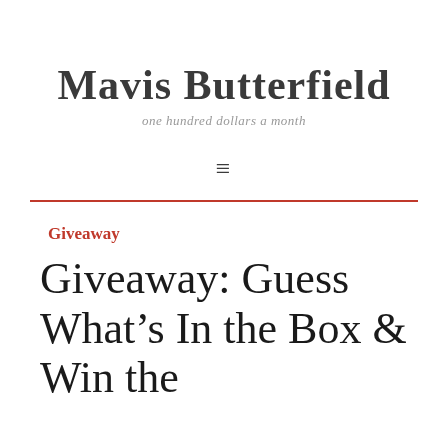Mavis Butterfield
one hundred dollars a month
Giveaway
Giveaway: Guess What’s In the Box & Win the Con...